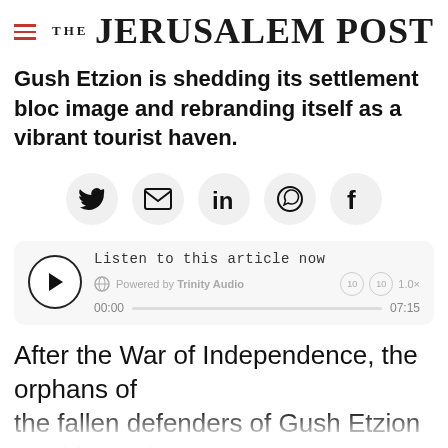THE JERUSALEM POST
Gush Etzion is shedding its settlement bloc image and rebranding itself as a vibrant tourist haven.
[Figure (infographic): Social share buttons: Twitter, Email, LinkedIn, WhatsApp, Facebook]
[Figure (infographic): Audio player: Listen to this article now. Powered by Trinity Audio. Time 00:00 / 07:15. Speed 1.0x.]
After the War of Independence, the orphans of the fallen defenders of Gush Etzion would stand
Advertisement